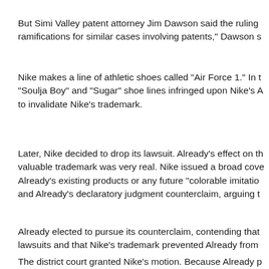But Simi Valley patent attorney Jim Dawson said the ruling ramifications for similar cases involving patents," Dawson s
Nike makes a line of athletic shoes called “Air Force 1.” In t “Soulja Boy” and “Sugar” shoe lines infringed upon Nike’s A to invalidate Nike's trademark.
Later, Nike decided to drop its lawsuit. Already’s effect on th valuable trademark was very real. Nike issued a broad cove Already’s existing products or any future “colorable imitatio and Already’s declaratory judgment counterclaim, arguing t
Already elected to pursue its counterclaim, contending that lawsuits and that Nike’s trademark prevented Already from
The district court granted Nike’s motion. Because Already p